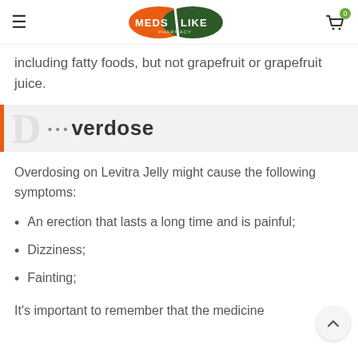MedsLike Pharmacy — navigation header with logo and cart
including fatty foods, but not grapefruit or grapefruit juice.
Overdose
Overdosing on Levitra Jelly might cause the following symptoms:
An erection that lasts a long time and is painful;
Dizziness;
Fainting;
It's important to remember that the medicine